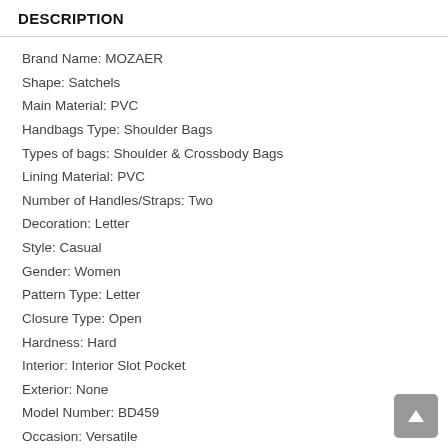DESCRIPTION
Brand Name: MOZAER
Shape: Satchels
Main Material: PVC
Handbags Type: Shoulder Bags
Types of bags: Shoulder & Crossbody Bags
Lining Material: PVC
Number of Handles/Straps: Two
Decoration: Letter
Style: Casual
Gender: Women
Pattern Type: Letter
Closure Type: Open
Hardness: Hard
Interior: Interior Slot Pocket
Exterior: None
Model Number: BD459
Occasion: Versatile
Strap Type: Handle